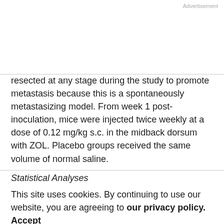Advertisement
resected at any stage during the study to promote metastasis because this is a spontaneously metastasizing model. From week 1 post-inoculation, mice were injected twice weekly at a dose of 0.12 mg/kg s.c. in the midback dorsum with ZOL. Placebo groups received the same volume of normal saline.
Statistical Analyses
This site uses cookies. By continuing to use our website, you are agreeing to our privacy policy. Accept
Data were analyzed for statistical significance with Student's t test (two-tailed). P ≤ 0.05 was considered significant unless otherwise indicated.